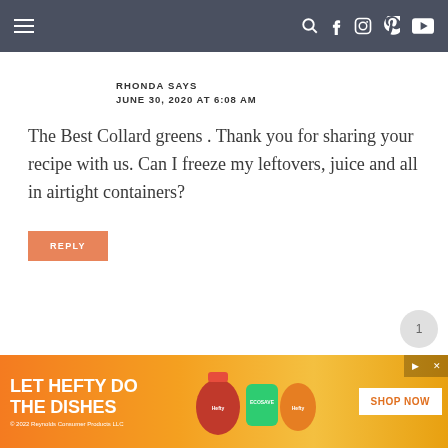Navigation bar with menu, search, facebook, instagram, pinterest, youtube icons
RHONDA SAYS
JUNE 30, 2020 AT 6:08 AM
The Best Collard greens . Thank you for sharing your recipe with us. Can I freeze my leftovers, juice and all in airtight containers?
REPLY
[Figure (infographic): Advertisement banner for Hefty products reading LET HEFTY DO THE DISHES with product images and SHOP NOW button. © 2022 Reynolds Consumer Products LLC]